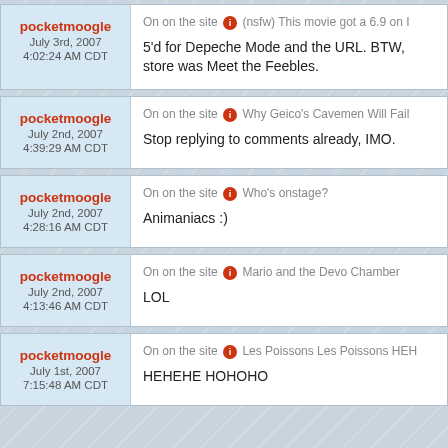pocketmoogle
July 3rd, 2007
4:02:24 AM CDT
On on the site [i] (nsfw) This movie got a 6.9 on I
5'd for Depeche Mode and the URL. BTW, store was Meet the Feebles.
pocketmoogle
July 2nd, 2007
4:39:29 AM CDT
On on the site [i] Why Geico's Cavemen Will Fail
Stop replying to comments already, IMO.
pocketmoogle
July 2nd, 2007
4:28:16 AM CDT
On on the site [i] Who's onstage?
Animaniacs :)
pocketmoogle
July 2nd, 2007
4:13:46 AM CDT
On on the site [i] Mario and the Devo Chamber
LOL
pocketmoogle
July 1st, 2007
7:15:48 AM CDT
On on the site [i] Les Poissons Les Poissons HEH
HEHEHE HOHOHO